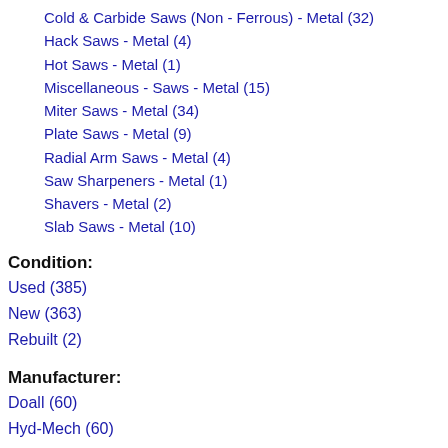Cold & Carbide Saws (Non - Ferrous) - Metal (32)
Hack Saws - Metal (4)
Hot Saws - Metal (1)
Miscellaneous - Saws - Metal (15)
Miter Saws - Metal (34)
Plate Saws - Metal (9)
Radial Arm Saws - Metal (4)
Saw Sharpeners - Metal (1)
Shavers - Metal (2)
Slab Saws - Metal (10)
Condition:
Used (385)
New (363)
Rebuilt (2)
Manufacturer:
Doall (60)
Hyd-Mech (60)
Jet (57)
Baileigh (52)
Hem (52)
Kalamazoo (40)
Dake (37)
Bandsaw Usa (21)